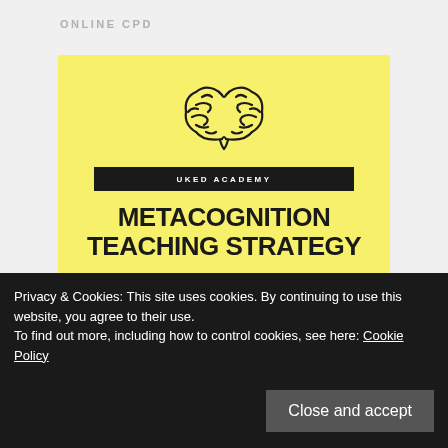ONLINE CPD
[Figure (illustration): Yellow book/card cover with a brain icon, UKED ACADEMY label bar, title METACOGNITION TEACHING STRATEGY, and subtitle text about a professional development programme]
Privacy & Cookies: This site uses cookies. By continuing to use this website, you agree to their use.
To find out more, including how to control cookies, see here: Cookie Policy
Close and accept